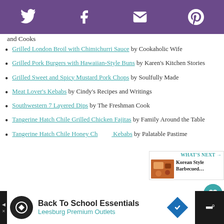Social share bar with Twitter, Facebook, Email, Pinterest icons
and Cooks
Grilled London Broil with Chimichurri Sauce by Cookaholic Wife
Grilled Pork Burgers with Hawaiian-Style Buns by Karen's Kitchen Stories
Grilled Sweet and Spicy Mustard Pork Chops by Soulfully Made
Meat Lover's Kebabs by Cindy's Recipes and Writings
Southwestern 7 Layered Dips by The Freshman Cook
Tangerine Hatch Chile Grilled Chicken Fajitas by Family Around the Table
Tangerine Hatch Chile Honey Chicken Kebabs by Palatable Pastime